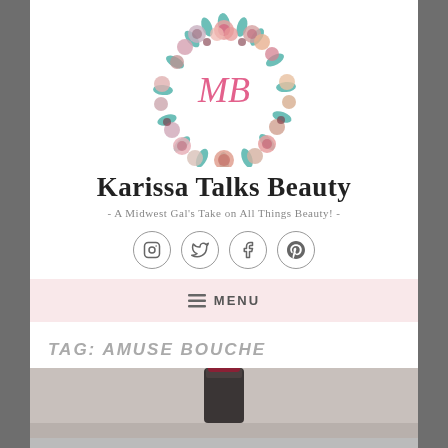[Figure (logo): Floral wreath logo with stylized 'MB' initials in pink script, surrounded by watercolor flowers and leaves in pink, peach, teal and brown]
Karissa Talks Beauty
- A Midwest Gal's Take on All Things Beauty! -
[Figure (infographic): Social media icons row: Instagram, Twitter, Facebook, Pinterest — circular outlined icons]
≡ MENU
TAG: AMUSE BOUCHE
[Figure (photo): Close-up photo of dark red/burgundy lipstick bullet on a soft grey background]